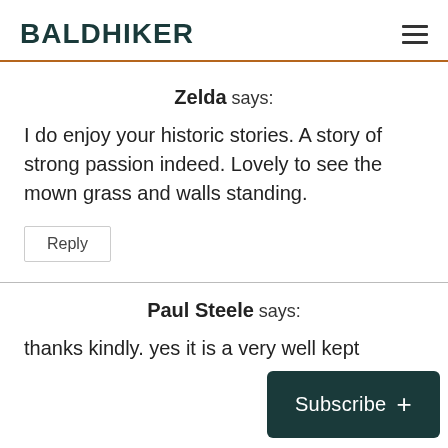BALDHIKER
Zelda says:
I do enjoy your historic stories. A story of strong passion indeed. Lovely to see the mown grass and walls standing.
Reply
Paul Steele says:
thanks kindly. yes it is a very well kept